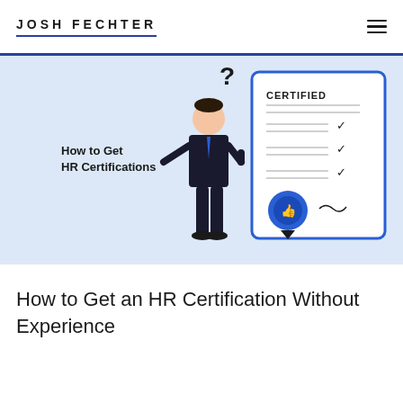JOSH FECHTER
[Figure (illustration): Illustration showing a person in a suit standing next to a large certificate labeled CERTIFIED with checkmarks and a blue seal/badge. A question mark floats above the person's head. Text on left reads 'How to Get HR Certifications'. Light blue background.]
How to Get an HR Certification Without Experience